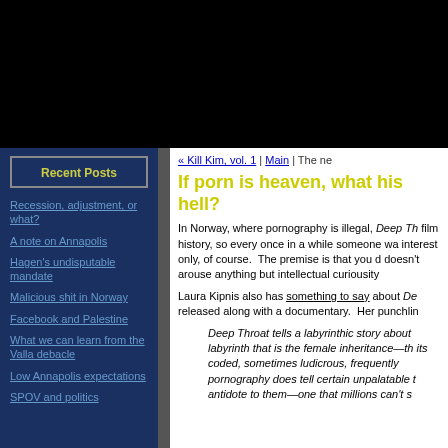[Figure (photo): Black banner/header area at top of webpage]
Recent Posts
Recession, adjustment, or what?
A note on Annapolis
Hagen's undisputable mandate
Malicious shit in Norway
Facebook and Palestine
What we can learn from the Valla debacle
Low Annapolis expectations
SPOV and politics
« Kill Kim, vol. 1 | Main | The ne
If porn is heaven, what his hell?
In Norway, where pornography is illegal, Deep Th film history, so every once in a while someone wa interest only, of course.  The premise is that you d doesn't arouse anything but intellectual curiousity
Laura Kipnis also has something to say about De released along with a documentary.  Her punchlin
Deep Throat tells a labyrinthic story about labyrinth that is the female inheritance—th its coded, sometimes ludicrous, frequently pornography does tell certain unpalatable t antidote to them—one that millions can't s